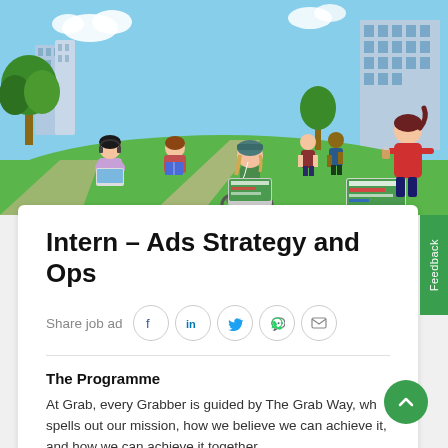[Figure (illustration): Colorful flat illustration of young people in a park/campus setting: a woman with headphones sitting under a tree with a laptop, a person reading while sitting on grass, people walking in background, a woman in red holding coffee looking at a laptop showing a Grab-branded screen, city buildings and trees in background under a blue sky.]
Intern - Ads Strategy and Ops
Share job ad
The Programme
At Grab, every Grabber is guided by The Grab Way, which spells out our mission, how we believe we can achieve it, and how we can achieve it together.